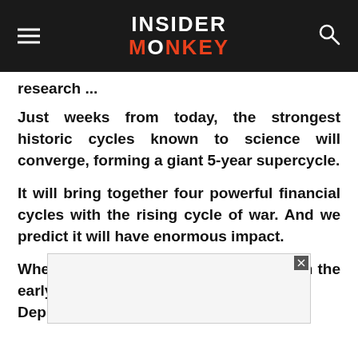INSIDER MONKEY
research ...
Just weeks from today, the strongest historic cycles known to science will converge, forming a giant 5-year supercycle.
It will bring together four powerful financial cycles with the rising cycle of war. And we predict it will have enormous impact.
When cycles like these came together in the early 1930 [reat Dep...